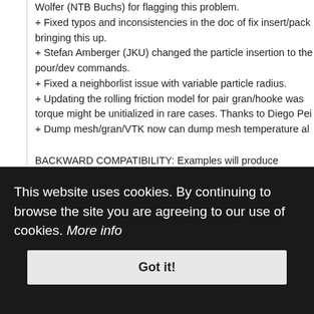Wolfer (NTB Buchs) for flagging this problem.
+ Fixed typos and inconsistencies in the doc of fix insert/pack... bringing this up.
+ Stefan Amberger (JKU) changed the particle insertion to the... pour/dev commands.
+ Fixed a neighborlist issue with variable particle radius.
+ Updating the rolling friction model for pair gran/hooke was... torque might be unitialized in rare cases. Thanks to Diego Pei...
+ Dump mesh/gran/VTK now can dump mesh temperature al...
BACKWARD COMPATIBILITY: Examples will produce differrent...
CFDEM® COMPATBILITY: 1.5.1 is currently not able to couple t...
'git://CFDEM.git.sourceforge.net/gitroot/CFDEM®/LIGGGHTS®'...
LIGGGHTS 1.5.1 released 29 November 2011
This website uses cookies. By continuing to browse the site you are agreeing to our use of cookies. More info
Got it!